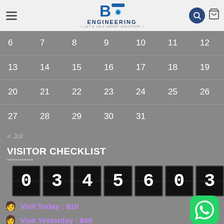[Figure (logo): BD Engineering logo with gear icon and tagline 'LET'S TALK SMART SOLUTION']
| S | S | M | T | W | T | F |
| --- | --- | --- | --- | --- | --- | --- |
| 6 | 7 | 8 | 9 | 10 | 11 | 12 |
| 13 | 14 | 15 | 16 | 17 | 18 | 19 |
| 20 | 21 | 22 | 23 | 24 | 25 | 26 |
| 27 | 28 | 29 | 30 | 31 |  |  |
« Jul
VISITOR CHECKLIST
0345603
Visit Today : 810
Visit Yesterday : 840